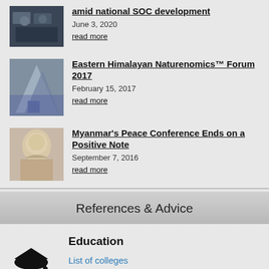amid national SOC development
June 3, 2020
read more
Eastern Himalayan Naturenomics™ Forum 2017
February 15, 2017
read more
Myanmar's Peace Conference Ends on a Positive Note
September 7, 2016
read more
References & Advice
Education
List of colleges
Expert advice